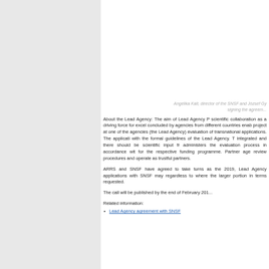Angelika Kalt, director of the SNSF and József Gy... signing the agreem...
About the Lead Agency: The aim of Lead Agency P... scientific collaboration as a driving force for excel... concluded by agencies from different countries enab... project at one of the agencies (the Lead Agency)... evaluation of transnational applications. The applicati... with the formal guidelines of the Lead Agency. T... integrated and there should be scientific input fr... administers the evaluation process in accordance wit... for the respective funding programme. Partner age... review procedures and operate as trustful partners.
ARRS and SNSF have agreed to take turns as the... 2019, Lead Agency applications with SNSF may... regardless to where the larger portion in terms... requested.
The call will be published by the end of February 201...
Related information:
Lead Agency agreement with SNSF